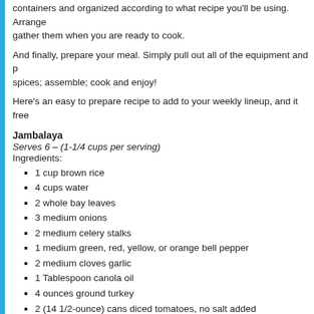containers and organized according to what recipe you'll be using. Arrange them when you are ready to cook.
And finally, prepare your meal. Simply pull out all of the equipment and p... spices; assemble; cook and enjoy!
Here's an easy to prepare recipe to add to your weekly lineup, and it free...
Jambalaya
Serves 6 – (1-1/4 cups per serving)
Ingredients:
1 cup brown rice
4 cups water
2 whole bay leaves
3 medium onions
2 medium celery stalks
1 medium green, red, yellow, or orange bell pepper
2 medium cloves garlic
1 Tablespoon canola oil
4 ounces ground turkey
2 (14 1/2-ounce) cans diced tomatoes, no salt added
1 teaspoon salt
1/2 teaspoon ground cayenne pepper
1 1/2 teaspoons dried oregano